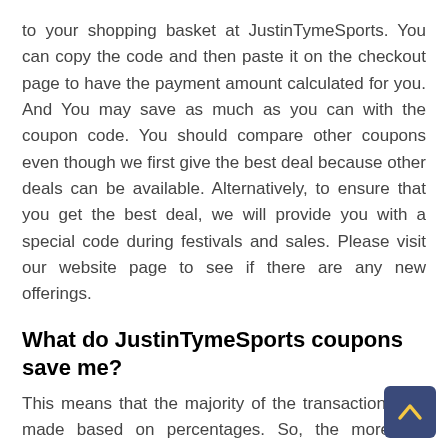to your shopping basket at JustinTymeSports. You can copy the code and then paste it on the checkout page to have the payment amount calculated for you. And You may save as much as you can with the coupon code. You should compare other coupons even though we first give the best deal because other deals can be available. Alternatively, to ensure that you get the best deal, we will provide you with a special code during festivals and sales. Please visit our website page to see if there are any new offerings.
What do JustinTymeSports coupons save me?
This means that the majority of the transactions are made based on percentages. So, the more the quantity of items you purchase, the greater the total amount of money you'll save. According to our current data source, users save an average of $6 or more when using CouponDuos coupons on their JustinTymeSports Store